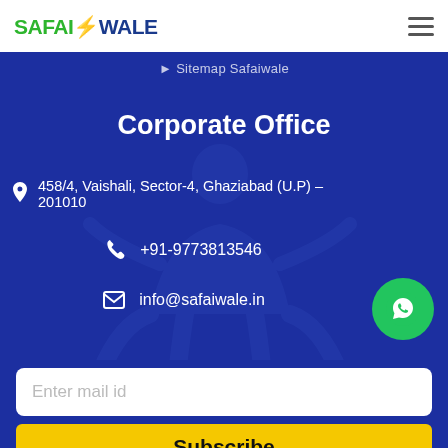Safaiwale
Sitemap Safaiwale
Corporate Office
458/4, Vaishali, Sector-4, Ghaziabad (U.P) – 201010
+91-9773813546
info@safaiwale.in
[Figure (illustration): Green WhatsApp icon button]
Enter mail id
Subscribe